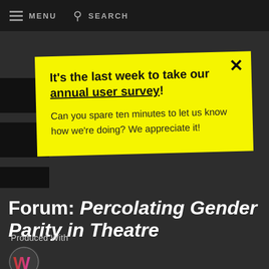MENU  SEARCH
It's the last week to take our annual user survey! Can you spare ten minutes to let us know how we're doing? We appreciate it!
Forum: Percolating Gender Parity in Theatre
Produced With
[Figure (logo): Women in the Arts & Media coalition logo — circular badge with large W in red and magenta]